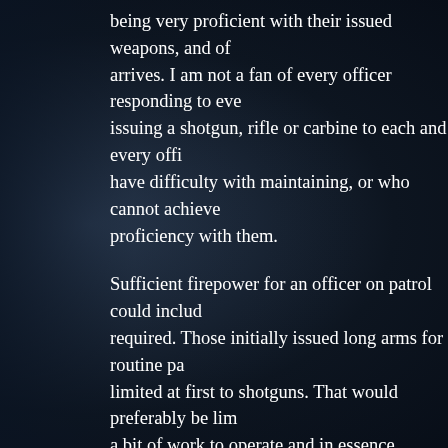being very proficient with their issued weapons, and of arrives. I am not a fan of every officer responding to eve issuing a shotgun, rifle or carbine to each and every offi have difficulty with maintaining, or who cannot achieve proficiency with them.
Sufficient firepower for an officer on patrol could includ required. Those initially issued long arms for routine pa limited at first to shotguns. That would preferably be lim a bit of work to operate and in essence cannot be utilize Shotguns though should be issued only to those who pr of their revolvers or semi-auto pistols at the range and h firearms. Say for instance that, candidates to move up t qualify, on average, at 80 or 85% proficiency with hand and must maintain proficiency and an excellent safety re safe carry and highly proficient use of a shotgun, the of